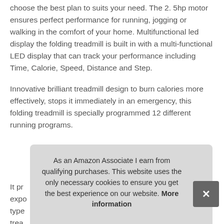choose the best plan to suits your need. The 2. 5hp motor ensures perfect performance for running, jogging or walking in the comfort of your home. Multifunctional led display the folding treadmill is built in with a multi-functional LED display that can track your performance including Time, Calorie, Speed, Distance and Step.
Innovative brilliant treadmill design to burn calories more effectively, stops it immediately in an emergency, this folding treadmill is specially programmed 12 different running programs.
More information
It pr... expo... type... trea...
As an Amazon Associate I earn from qualifying purchases. This website uses the only necessary cookies to ensure you get the best experience on our website. More information